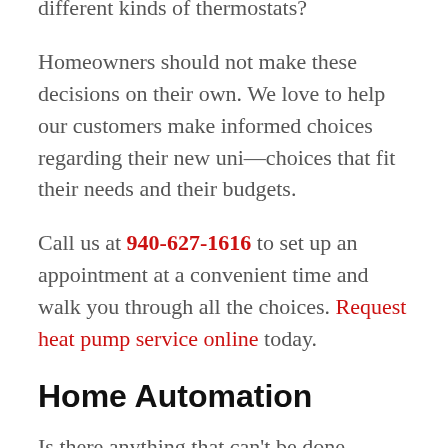different kinds of thermostats?
Homeowners should not make these decisions on their own. We love to help our customers make informed choices regarding their new uni—choices that fit their needs and their budgets.
Call us at 940-627-1616 to set up an appointment at a convenient time and walk you through all the choices. Request heat pump service online today.
Home Automation
Is there anything that can't be done